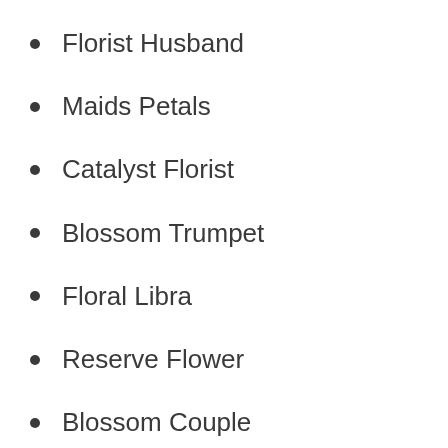Florist Husband
Maids Petals
Catalyst Florist
Blossom Trumpet
Floral Libra
Reserve Flower
Blossom Couple